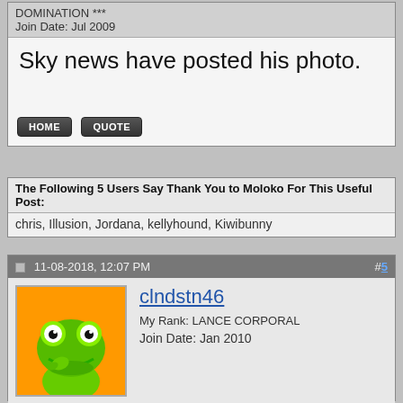DOMINATION ***
Join Date: Jul 2009
Sky news have posted his photo.
The Following 5 Users Say Thank You to Moloko For This Useful Post:
chris, Illusion, Jordana, kellyhound, Kiwibunny
11-08-2018, 12:07 PM  #5
clndstn46
My Rank: LANCE CORPORAL
Join Date: Jan 2010
Country music is a sin but no one deserves this.
Dude was a former marine apparently
...